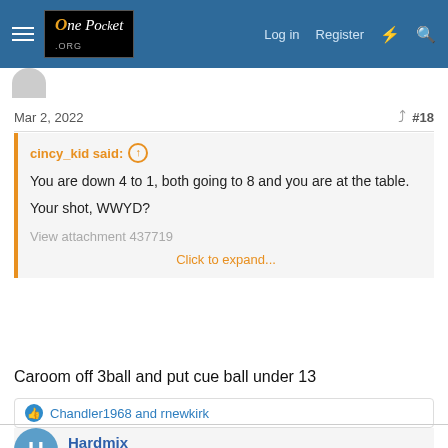One Pocket .org  Log in  Register
Mar 2, 2022  #18
cincy_kid said:
You are down 4 to 1, both going to 8 and you are at the table.

Your shot, WWYD?

View attachment 437719

Click to expand...
Caroom off 3ball and put cue ball under 13
Chandler1968 and rnewkirk
Hardmix
Verified Member